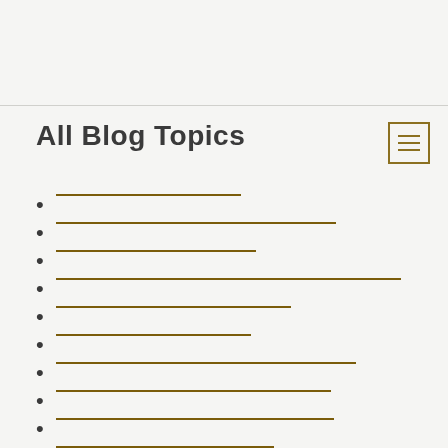All Blog Topics
[link 1]
[link 2]
[link 3]
[link 4]
[link 5]
[link 6]
[link 7]
[link 8]
[link 9]
[link 10]
[link 11]
[link 12]